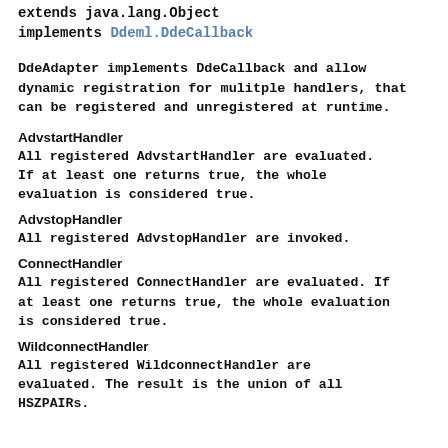extends java.lang.Object
implements Ddeml.DdeCallback
DdeAdapter implements DdeCallback and allow dynamic registration for mulitple handlers, that can be registered and unregistered at runtime.
AdvstartHandler
All registered AdvstartHandler are evaluated. If at least one returns true, the whole evaluation is considered true.
AdvstopHandler
All registered AdvstopHandler are invoked.
ConnectHandler
All registered ConnectHandler are evaluated. If at least one returns true, the whole evaluation is considered true.
WildconnectHandler
All registered WildconnectHandler are evaluated. The result is the union of all HSZPAIRs.